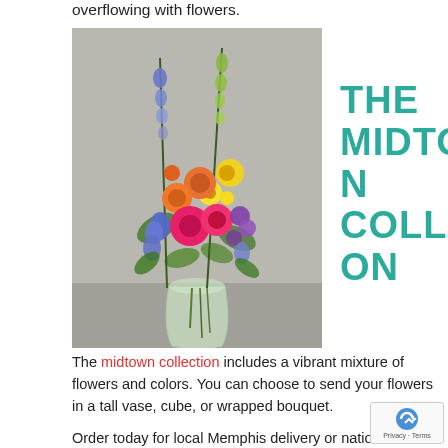overflowing with flowers.
[Figure (photo): A vibrant floral arrangement in a glass vase featuring orange roses, pink gerbera daisies, blue irises, purple flowers, yellow blooms, and tall green stems against a gray background.]
THE MIDTOWN COLLECTION
The midtown collection includes a vibrant mixture of flowers and colors. You can choose to send your flowers in a tall vase, cube, or wrapped bouquet.
Order today for local Memphis delivery or nationwide